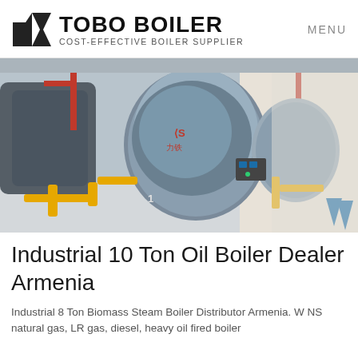TOBO BOILER COST-EFFECTIVE BOILER SUPPLIER | MENU
[Figure (photo): Industrial boilers with yellow and red piping in a factory setting, multiple large cylindrical boilers visible]
Industrial 10 Ton Oil Boiler Dealer Armenia
Industrial 8 Ton Biomass Steam Boiler Distributor Armenia. W NS natural gas, LR gas, diesel, heavy oil fired boiler